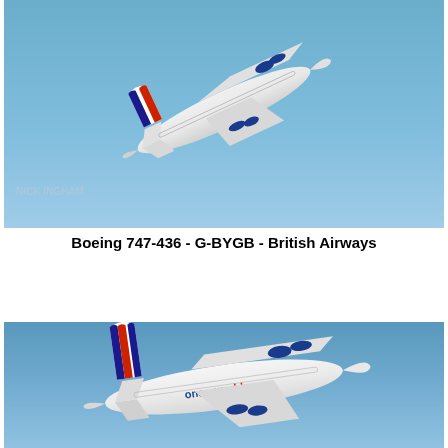[Figure (photo): Boeing 747-436 G-BYGB British Airways aircraft in flight against a clear blue sky, viewed from below-rear angle, showing British Airways livery with red, white and blue tail fin]
Boeing 747-436 - G-BYGB - British Airways
[Figure (photo): Boeing 747 in British Airways oneworld alliance livery, climbing in flight against blue sky, showing the white fuselage with 'oneworld' branding and British Airways Union Jack tail fin]